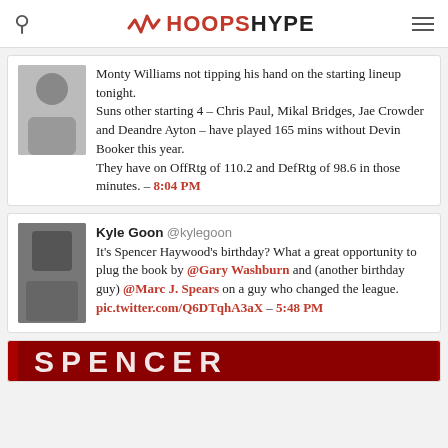HoopsHype
Monty Williams not tipping his hand on the starting lineup tonight. Suns other starting 4 – Chris Paul, Mikal Bridges, Jae Crowder and Deandre Ayton – have played 165 mins without Devin Booker this year. They have on OffRtg of 110.2 and DefRtg of 98.6 in those minutes. – 8:04 PM
Kyle Goon @kylegoon It's Spencer Haywood's birthday? What a great opportunity to plug the book by @Gary Washburn and (another birthday guy) @Marc J. Spears on a guy who changed the league. pic.twitter.com/Q6DTqhA3aX – 5:48 PM
[Figure (photo): Bottom banner image showing 'SPENCER' text in white on red background]